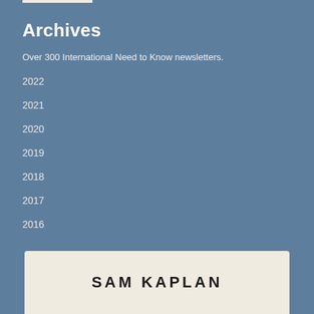Archives
Over 300 International Need to Know newsletters.
2022
2021
2020
2019
2018
2017
2016
SAM KAPLAN